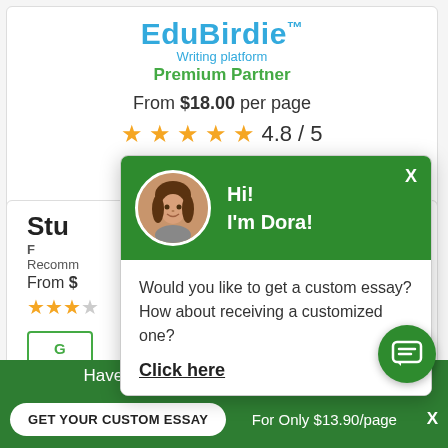EduBirdie™
Writing platform
Premium Partner
From $18.00 per page
4.8 / 5
[Figure (screenshot): Green Get button (partially visible)]
Stu...
F...
Recomm...
From $...
[Figure (screenshot): Chat popup with avatar photo of Dora, greeting Hi! I'm Dora!, chat question Would you like to get a custom essay? How about receiving a customized one?, Click here link, and X close button]
Hi!
I'm Dora!
Would you like to get a custom essay? How about receiving a customized one?
Click here
Haven't Found The Essay You Want?
GET YOUR CUSTOM ESSAY
For Only $13.90/page